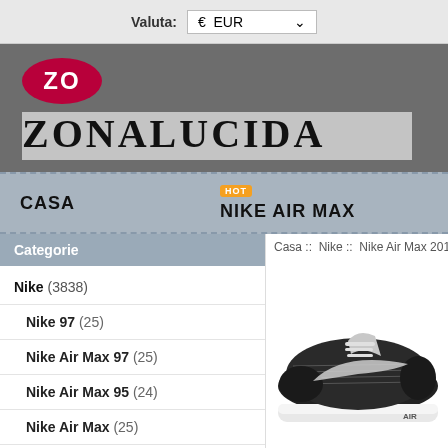Valuta: € EUR
[Figure (logo): ZO oval logo in crimson red with white text, above ZONALUCIDA text in large serif on grey background]
CASA    NIKE AIR MAX HOT
Casa :: Nike :: Nike Air Max 2017 :: nike
Categorie
Nike (3838)
Nike 97 (25)
Nike Air Max 97 (25)
Nike Air Max 95 (24)
Nike Air Max (25)
Nike Air Force (24)
[Figure (photo): Nike Air Max sneaker, black and white colorway, side view]